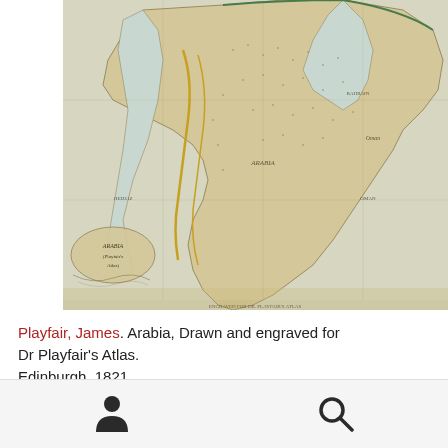[Figure (map): Antique map of Arabia (Arabian Peninsula) drawn and engraved for Dr Playfair's Atlas, Edinburgh 1821. Shows the Arabian Peninsula with hand-coloring, coastlines, place names in old script, and a decorative cartouche in the lower-left corner.]
Playfair, James. Arabia, Drawn and engraved for Dr Playfair's Atlas.
Edinburgh, 1821.
€ 1.200,00
[Figure (infographic): Bottom navigation bar with a person/user icon on the left and a search/magnifying glass icon on the right.]